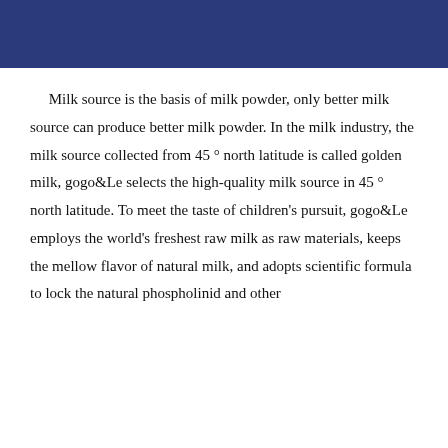Milk source is the basis of milk powder, only better milk source can produce better milk powder. In the milk industry, the milk source collected from 45 ° north latitude is called golden milk, gogo&Le selects the high-quality milk source in 45 ° north latitude. To meet the taste of children's pursuit, gogo&Le employs the world's freshest raw milk as raw materials, keeps the mellow flavor of natural milk, and adopts scientific formula to lock the natural phospholinid and other